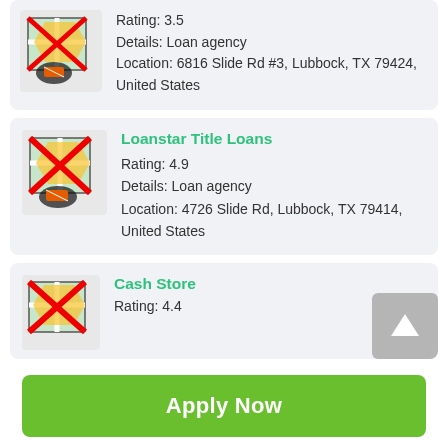[Figure (screenshot): Loan agency listing card (partial, top): map icon with red X, Rating: 3.5, Details: Loan agency, Location: 6816 Slide Rd #3, Lubbock, TX 79424, United States]
Rating: 3.5
Details: Loan agency
Location: 6816 Slide Rd #3, Lubbock, TX 79424, United States
Loanstar Title Loans
Rating: 4.9
Details: Loan agency
Location: 4726 Slide Rd, Lubbock, TX 79414, United States
Cash Store
Rating: 4.4
Apply Now
Applying does NOT affect your credit score!
No credit check to apply.